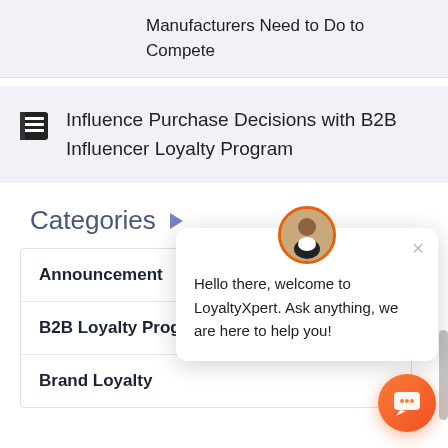Manufacturers Need to Do to Compete
Influence Purchase Decisions with B2B Influencer Loyalty Program
Categories
Announcement
B2B Loyalty Program
Brand Loyalty
Hello there, welcome to LoyaltyXpert. Ask anything, we are here to help you!